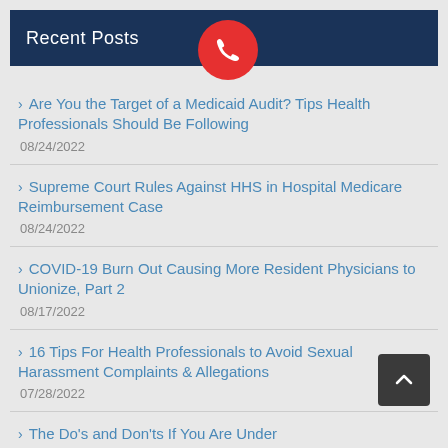Recent Posts
Are You the Target of a Medicaid Audit? Tips Health Professionals Should Be Following
08/24/2022
Supreme Court Rules Against HHS in Hospital Medicare Reimbursement Case
08/24/2022
COVID-19 Burn Out Causing More Resident Physicians to Unionize, Part 2
08/17/2022
16 Tips For Health Professionals to Avoid Sexual Harassment Complaints & Allegations
07/28/2022
The Do's and Don'ts If You Are Under